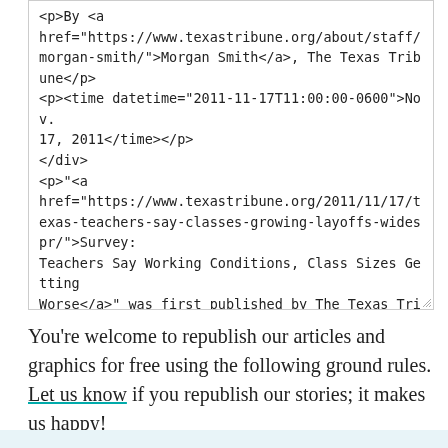<p>By <a href="https://www.texastribune.org/about/staff/morgan-smith/">Morgan Smith</a>, The Texas Tribune</p>
<p><time datetime="2011-11-17T11:00:00-0600">Nov. 17, 2011</time></p>
</div>
<p>"<a href="https://www.texastribune.org/2011/11/17/texas-teachers-say-classes-growing-layoffs-widespr/">Survey: Teachers Say Working Conditions, Class Sizes Getting Worse</a>" was first published by The Texas Tribune, a nonprofit, nonpartisan media organization that informs Texans — and engages with them — about public policy, politics, government and statewide issues.</p>
<p>Since the Legislature's intention to cut $5.4 billion from public education became a reality, one question has dominated the conversation: just how bad will it be? </p>
You're welcome to republish our articles and graphics for free using the following ground rules. Let us know if you republish our stories; it makes us happy!